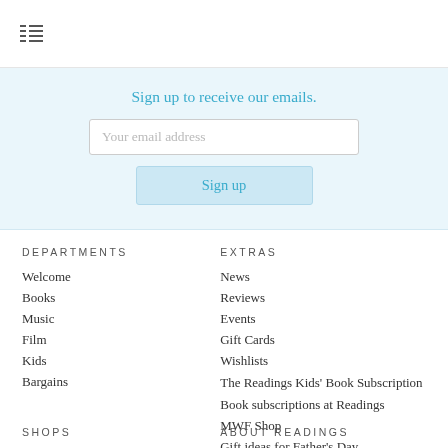≡ (menu icon)
Sign up to receive our emails.
Your email address
Sign up
DEPARTMENTS
Welcome
Books
Music
Film
Kids
Bargains
EXTRAS
News
Reviews
Events
Gift Cards
Wishlists
The Readings Kids' Book Subscription
Book subscriptions at Readings
MWF Shop
Gift ideas for Father's Day
SHOPS
ABOUT READINGS